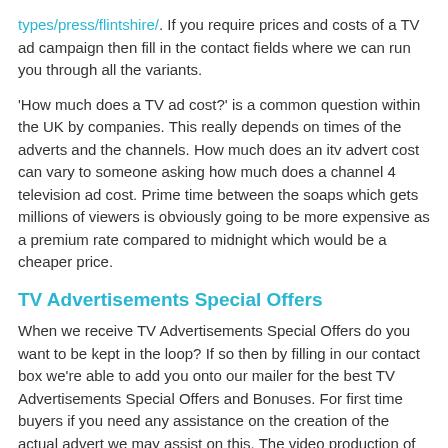types/press/flintshire/. If you require prices and costs of a TV ad campaign then fill in the contact fields where we can run you through all the variants.
'How much does a TV ad cost?' is a common question within the UK by companies. This really depends on times of the adverts and the channels. How much does an itv advert cost can vary to someone asking how much does a channel 4 television ad cost. Prime time between the soaps which gets millions of viewers is obviously going to be more expensive as a premium rate compared to midnight which would be a cheaper price.
TV Advertisements Special Offers
When we receive TV Advertisements Special Offers do you want to be kept in the loop? If so then by filling in our contact box we're able to add you onto our mailer for the best TV Advertisements Special Offers and Bonuses. For first time buyers if you need any assistance on the creation of the actual advert we may assist on this. The video production of your advert needs to be clear, concise and catching.